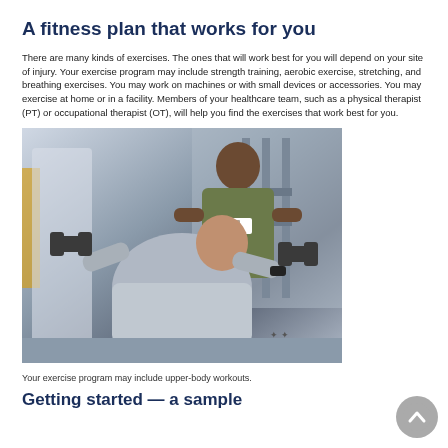A fitness plan that works for you
There are many kinds of exercises. The ones that will work best for you will depend on your site of injury. Your exercise program may include strength training, aerobic exercise, stretching, and breathing exercises. You may work on machines or with small devices or accessories. You may exercise at home or in a facility. Members of your healthcare team, such as a physical therapist (PT) or occupational therapist (OT), will help you find the exercises that work best for you.
[Figure (photo): A man in a gray t-shirt lifts dumbbells on a bench while a trainer in an olive shirt with a badge watches and assists him in a gym setting.]
Your exercise program may include upper-body workouts.
Getting started — a sample